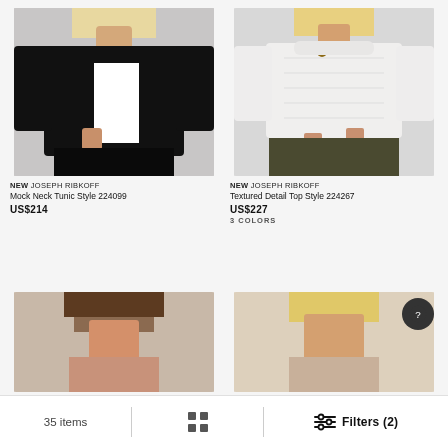[Figure (photo): Woman wearing black mock neck tunic with white panel detail and black leather pants]
NEW JOSEPH RIBKOFF
Mock Neck Tunic Style 224099
US$214
[Figure (photo): Woman wearing white textured lace detail top with gold buttons and olive green pants]
NEW JOSEPH RIBKOFF
Textured Detail Top Style 224267
US$227
3 COLORS
[Figure (photo): Partial image of woman, bottom row left product]
[Figure (photo): Partial image of woman, bottom row right product]
35 items   Filters (2)